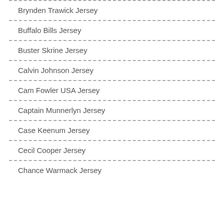Brynden Trawick Jersey
Buffalo Bills Jersey
Buster Skrine Jersey
Calvin Johnson Jersey
Cam Fowler USA Jersey
Captain Munnerlyn Jersey
Case Keenum Jersey
Cecil Cooper Jersey
Chance Warmack Jersey